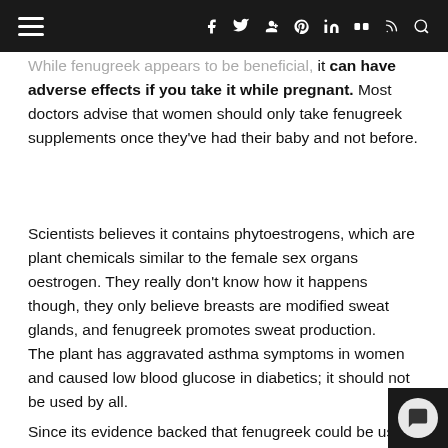Navigation bar with hamburger menu and social icons (facebook, twitter, google+, pinterest, linkedin, flickr, rss, search)
While fenugreek appears to be beneficial, it can have adverse effects if you take it while pregnant. Most doctors advise that women should only take fenugreek supplements once they've had their baby and not before.
Scientists believes it contains phytoestrogens, which are plant chemicals similar to the female sex organs oestrogen. They really don't know how it happens though, they only believe breasts are modified sweat glands, and fenugreek promotes sweat production.
The plant has aggravated asthma symptoms in women and caused low blood glucose in diabetics; it should not be used by all.
Since its evidence backed that fenugreek could be us